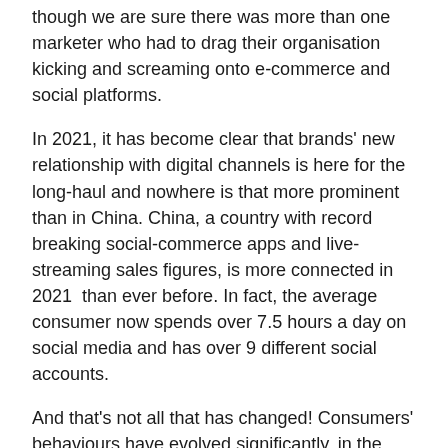though we are sure there was more than one marketer who had to drag their organisation kicking and screaming onto e-commerce and social platforms.
In 2021, it has become clear that brands' new relationship with digital channels is here for the long-haul and nowhere is that more prominent than in China. China, a country with record breaking social-commerce apps and live-streaming sales figures, is more connected in 2021 than ever before. In fact, the average consumer now spends over 7.5 hours a day on social media and has over 9 different social accounts.
And that's not all that has changed! Consumers' behaviours have evolved significantly, in the way they buy, how they choose products, and even what